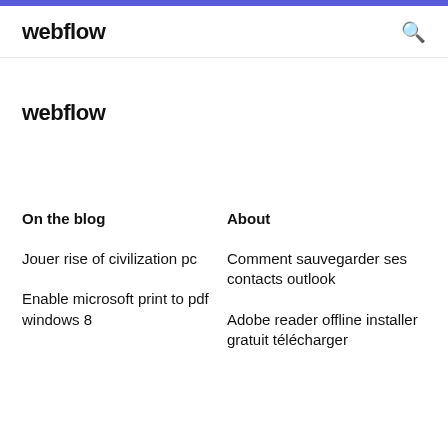webflow
webflow
On the blog
About
Jouer rise of civilization pc
Comment sauvegarder ses contacts outlook
Enable microsoft print to pdf windows 8
Adobe reader offline installer gratuit télécharger